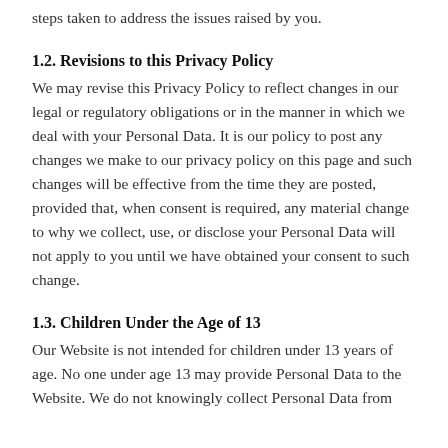steps taken to address the issues raised by you.
1.2. Revisions to this Privacy Policy
We may revise this Privacy Policy to reflect changes in our legal or regulatory obligations or in the manner in which we deal with your Personal Data. It is our policy to post any changes we make to our privacy policy on this page and such changes will be effective from the time they are posted, provided that, when consent is required, any material change to why we collect, use, or disclose your Personal Data will not apply to you until we have obtained your consent to such change.
1.3. Children Under the Age of 13
Our Website is not intended for children under 13 years of age. No one under age 13 may provide Personal Data to the Website. We do not knowingly collect Personal Data from children under 13. If we are told we have collected Personal Data